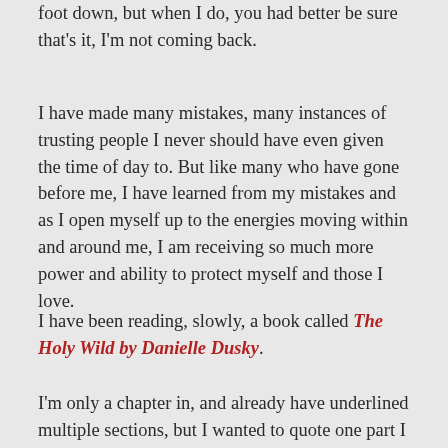foot down, but when I do, you had better be sure that's it, I'm not coming back.
I have made many mistakes, many instances of trusting people I never should have even given the time of day to. But like many who have gone before me, I have learned from my mistakes and as I open myself up to the energies moving within and around me, I am receiving so much more power and ability to protect myself and those I love.
I have been reading, slowly, a book called The Holy Wild by Danielle Dusky.
I'm only a chapter in, and already have underlined multiple sections, but I wanted to quote one part I underlined that was extremely validating and